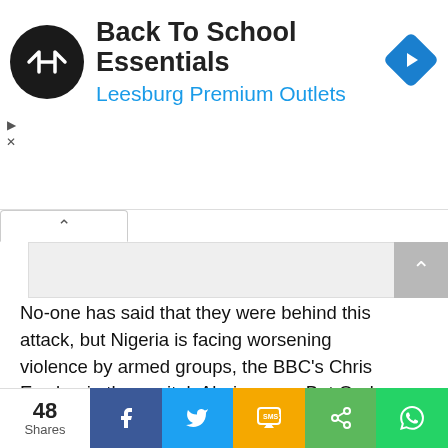[Figure (infographic): Advertisement banner: circular black logo with double arrow symbol, bold text 'Back To School Essentials', blue subtext 'Leesburg Premium Outlets', blue diamond navigation icon on right]
[Figure (screenshot): Gray placeholder ad box with collapse tab (caret up) on left and scroll-to-top button on right]
No-one has said that they were behind this attack, but Nigeria is facing worsening violence by armed groups, the BBC’s Chris Ewokor in the capital, Abuja, says. But Ondo state has, until now, been relatively untouched.
Our reporter says that people across the country are worried over the inability of the government to tackle the rising levels
[Figure (infographic): Social share bar: 48 Shares count, Facebook (blue), Twitter (blue), SMS (yellow/orange), Share (green), WhatsApp (green) buttons]